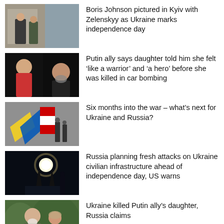[Figure (photo): Boris Johnson and Zelenskyy standing together outdoors in Kyiv]
Boris Johnson pictured in Kyiv with Zelenskyy as Ukraine marks independence day
[Figure (photo): Portrait of young woman and older man with beard, dark background]
Putin ally says daughter told him she felt ‘like a warrior’ and ‘a hero’ before she was killed in car bombing
[Figure (photo): Soldiers with Ukrainian and other flags, colorful ribbons]
Six months into the war – what’s next for Ukraine and Russia?
[Figure (photo): Dark silhouette against bright sun, military equipment]
Russia planning fresh attacks on Ukraine civilian infrastructure ahead of independence day, US warns
[Figure (photo): Older man with white beard and woman, outdoor greenery]
Ukraine killed Putin ally’s daughter, Russia claims